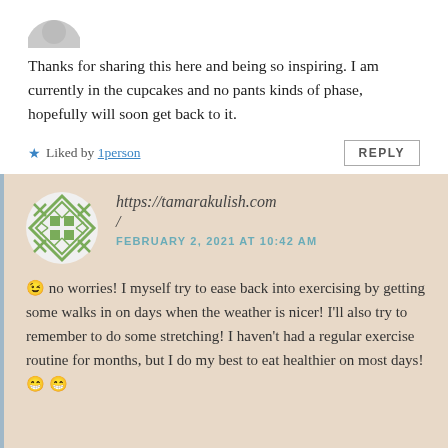[Figure (photo): Partial avatar image of commenter at top, cropped circle]
Thanks for sharing this here and being so inspiring. I am currently in the cupcakes and no pants kinds of phase, hopefully will soon get back to it.
★ Liked by 1person
REPLY
[Figure (illustration): Green and white geometric/lattice circular avatar for tamarakulish.com]
https://tamarakulish.com /
FEBRUARY 2, 2021 AT 10:42 AM
😉 no worries! I myself try to ease back into exercising by getting some walks in on days when the weather is nicer! I'll also try to remember to do some stretching! I haven't had a regular exercise routine for months, but I do my best to eat healthier on most days! 😁 😁